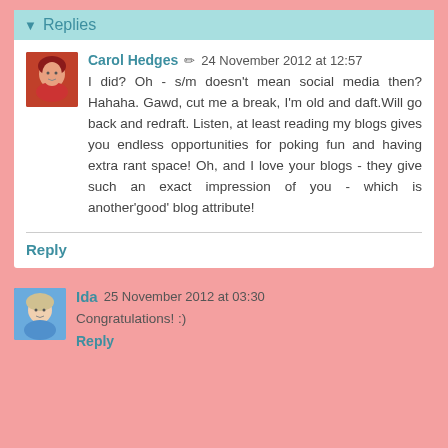Replies
Carol Hedges  24 November 2012 at 12:57
I did? Oh - s/m doesn't mean social media then? Hahaha. Gawd, cut me a break, I'm old and daft.Will go back and redraft. Listen, at least reading my blogs gives you endless opportunities for poking fun and having extra rant space! Oh, and I love your blogs - they give such an exact impression of you - which is another'good' blog attribute!
Reply
Ida  25 November 2012 at 03:30
Congratulations! :)
Reply